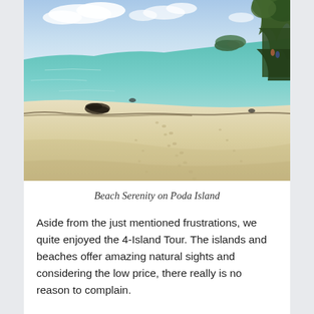[Figure (photo): A tropical beach scene on Poda Island showing a wide sandy beach with turquoise water on the left, footprints in the sand, seaweed debris line along the shoreline, and trees visible on the right side. A small island is visible in the background across the water. The sky is partly cloudy.]
Beach Serenity on Poda Island
Aside from the just mentioned frustrations, we quite enjoyed the 4-Island Tour. The islands and beaches offer amazing natural sights and considering the low price, there really is no reason to complain.